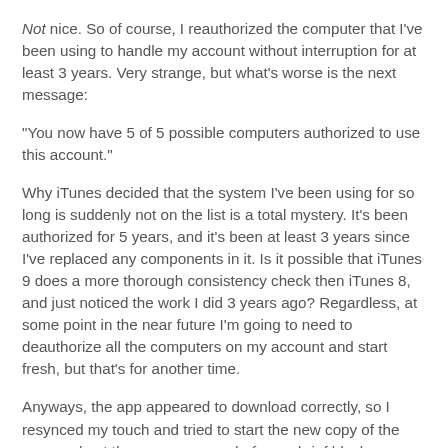Not nice. So of course, I reauthorized the computer that I've been using to handle my account without interruption for at least 3 years. Very strange, but what's worse is the next message:
"You now have 5 of 5 possible computers authorized to use this account."
Why iTunes decided that the system I've been using for so long is suddenly not on the list is a total mystery. It's been authorized for 5 years, and it's been at least 3 years since I've replaced any components in it. Is it possible that iTunes 9 does a more thorough consistency check then iTunes 8, and just noticed the work I did 3 years ago? Regardless, at some point in the near future I'm going to need to deauthorize all the computers on my account and start fresh, but that's for another time.
Anyways, the app appeared to download correctly, so I resynced my touch and tried to start the new copy of the app, and got the same error as before; a brief black screen followed by getting dumped back at the desktop.